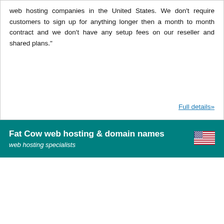web hosting companies in the United States. We don't require customers to sign up for anything longer then a month to month contract and we don't have any setup fees on our reseller and shared plans."
Full details»
Fat Cow web hosting & domain names
web hosting specialists